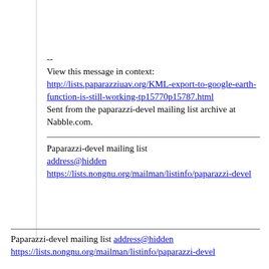--
View this message in context: http://lists.paparazziuav.org/KML-export-to-google-earth-function-is-still-working-tp15770p15787.html
Sent from the paparazzi-devel mailing list archive at Nabble.com.
Paparazzi-devel mailing list
address@hidden
https://lists.nongnu.org/mailman/listinfo/paparazzi-devel
Paparazzi-devel mailing list address@hidden https://lists.nongnu.org/mailman/listinfo/paparazzi-devel